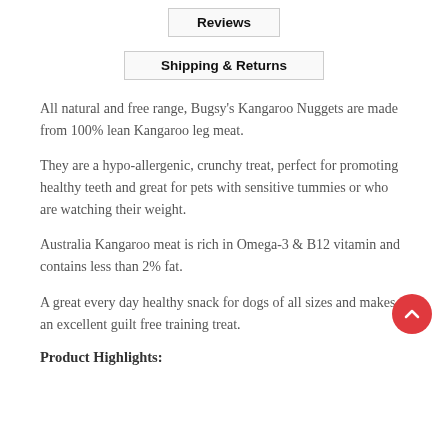Reviews
Shipping & Returns
All natural and free range, Bugsy's Kangaroo Nuggets are made from 100% lean Kangaroo leg meat.
They are a hypo-allergenic, crunchy treat, perfect for promoting healthy teeth and great for pets with sensitive tummies or who are watching their weight.
Australia Kangaroo meat is rich in Omega-3 & B12 vitamin and contains less than 2% fat.
A great every day healthy snack for dogs of all sizes and makes an excellent guilt free training treat.
Product Highlights: